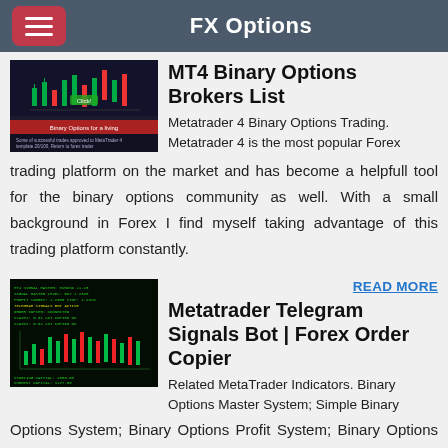FX Options
MT4 Binary Options Brokers List
Metatrader 4 Binary Options Trading. Metatrader 4 is the most popular Forex trading platform on the market and has become a helpfull tool for the binary options community as well. With a small background in Forex I find myself taking advantage of this trading platform constantly.
READ MORE
Metatrader Telegram Signals Bot | Forex Order Copier
Related MetaTrader Indicators. Binary Options Master System; Simple Binary Options System; Binary Options Profit System; Binary Options Channel; Binary Options Trading Template; Sixty Second Trades for